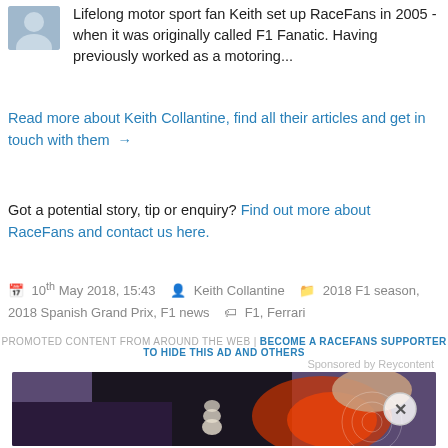Lifelong motor sport fan Keith set up RaceFans in 2005 - when it was originally called F1 Fanatic. Having previously worked as a motoring...
Read more about Keith Collantine, find all their articles and get in touch with them →
Got a potential story, tip or enquiry? Find out more about RaceFans and contact us here.
10th May 2018, 15:43   Keith Collantine   2018 F1 season, 2018 Spanish Grand Prix, F1 news   F1, Ferrari
PROMOTED CONTENT FROM AROUND THE WEB | BECOME A RACEFANS SUPPORTER TO HIDE THIS AD AND OTHERS
Sponsored by Reycontent
[Figure (photo): Advertisement image showing a person holding their back/hip area with a highlighted red pain area, with a close button (X) overlay]